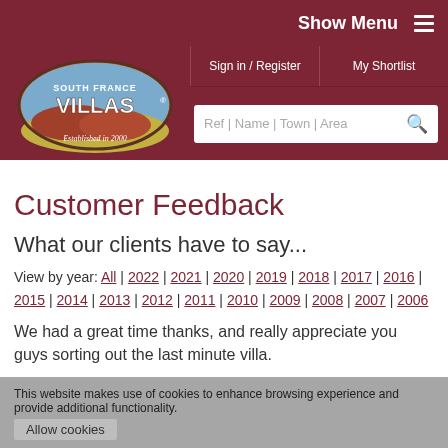Show Menu
[Figure (logo): South France Villas logo with oval shape, landscape illustration, 'Established in 2000' text]
Customer Feedback
What our clients have to say...
View by year: All | 2022 | 2021 | 2020 | 2019 | 2018 | 2017 | 2016 | 2015 | 2014 | 2013 | 2012 | 2011 | 2010 | 2009 | 2008 | 2007 | 2006
We had a great time thanks, and really appreciate you guys sorting out the last minute villa.
This website makes use of cookies to enhance browsing experience and provide additional functionality.